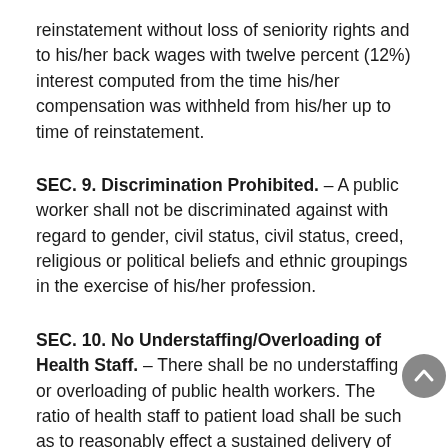reinstatement without loss of seniority rights and to his/her back wages with twelve percent (12%) interest computed from the time his/her compensation was withheld from his/her up to time of reinstatement.
SEC. 9. Discrimination Prohibited.
– A public worker shall not be discriminated against with regard to gender, civil status, civil status, creed, religious or political beliefs and ethnic groupings in the exercise of his/her profession.
SEC. 10. No Understaffing/Overloading of Health Staff.
– There shall be no understaffing or overloading of public health workers. The ratio of health staff to patient load shall be such as to reasonably effect a sustained delivery of quality health care at all times without overworking the public health worker and over extending his/her duty and service. Health students and apprentices shall be allowed